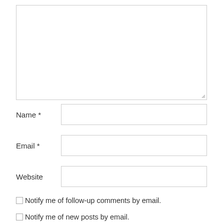[Figure (screenshot): A comment form with a large textarea for comment text, input fields for Name (required), Email (required), and Website, plus two checkboxes: 'Notify me of follow-up comments by email.' and 'Notify me of new posts by email.']
Name *
Email *
Website
Notify me of follow-up comments by email.
Notify me of new posts by email.